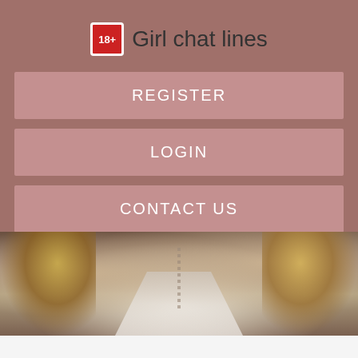18+ Girl chat lines
REGISTER
LOGIN
CONTACT US
[Figure (photo): Blurred photo of a person with blonde hair wearing a white top with a necklace, photographed from behind/side]
They shut down Parler over a fake insurrection and allow